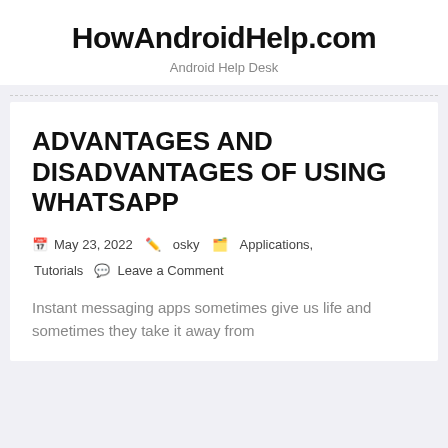HowAndroidHelp.com
Android Help Desk
ADVANTAGES AND DISADVANTAGES OF USING WHATSAPP
May 23, 2022  osky  Applications, Tutorials  Leave a Comment
Instant messaging apps sometimes give us life and sometimes they take it away from